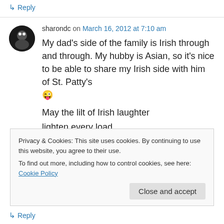↳ Reply
sharondc on March 16, 2012 at 7:10 am
My dad's side of the family is Irish through and through. My hubby is Asian, so it's nice to be able to share my Irish side with him of St. Patty's 😜
May the lilt of Irish laughter
lighten every load.
Privacy & Cookies: This site uses cookies. By continuing to use this website, you agree to their use.
To find out more, including how to control cookies, see here: Cookie Policy
Close and accept
↳ Reply